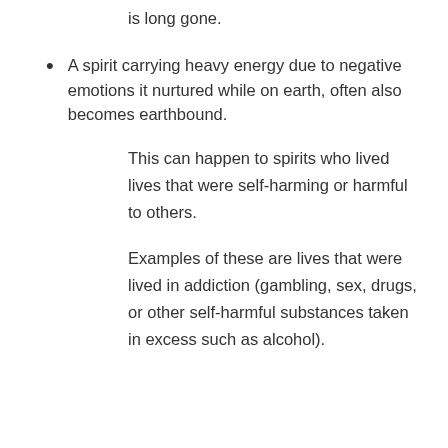is long gone.
A spirit carrying heavy energy due to negative emotions it nurtured while on earth, often also becomes earthbound.
This can happen to spirits who lived lives that were self-harming or harmful to others.
Examples of these are lives that were lived in addiction (gambling, sex, drugs, or other self-harmful substances taken in excess such as alcohol).